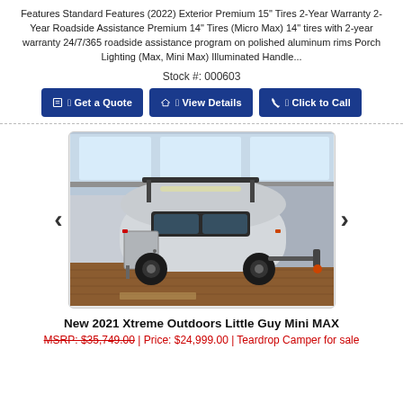Features Standard Features (2022) Exterior Premium 15" Tires 2-Year Warranty 2-Year Roadside Assistance Premium 14" Tires (Micro Max) 14" tires with 2-year warranty 24/7/365 roadside assistance program on polished aluminum rims Porch Lighting (Max, Mini Max) Illuminated Handle...
Stock #: 000603
Get a Quote
View Details
Click to Call
[Figure (photo): A small teardrop-style camper trailer (Little Guy Mini MAX) displayed inside a showroom. The camper is white/silver with a rounded top and dark accents. A tow hitch and orange trailer connector are visible. Showroom windows and wood flooring in the background.]
New 2021 Xtreme Outdoors Little Guy Mini MAX
MSRP: $35,749.00 | Price: $24,999.00 | Teardrop Camper for sale